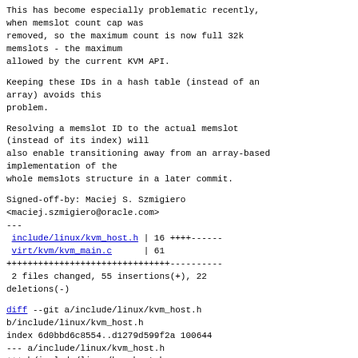This has become especially problematic recently, when memslot count cap was
removed, so the maximum count is now full 32k
memslots - the maximum
allowed by the current KVM API.
Keeping these IDs in a hash table (instead of an
array) avoids this
problem.
Resolving a memslot ID to the actual memslot
(instead of its index) will
also enable transitioning away from an array-based
implementation of the
whole memslots structure in a later commit.
Signed-off-by: Maciej S. Szmigiero
<maciej.szmigiero@oracle.com>
---
 include/linux/kvm_host.h | 16 ++++------
 virt/kvm/kvm_main.c      | 61
+++++++++++++++++++++++++++++++----------
 2 files changed, 55 insertions(+), 22
deletions(-)
diff --git a/include/linux/kvm_host.h
b/include/linux/kvm_host.h
index 6d0bbd6c8554..d1279d599f2a 100644
--- a/include/linux/kvm_host.h
+++ b/include/linux/kvm_host.h
@@ -29,6 +29,7 @@